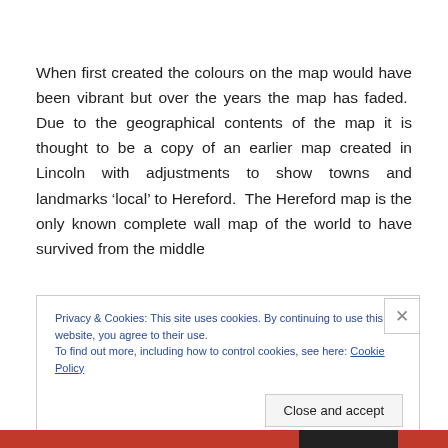When first created the colours on the map would have been vibrant but over the years the map has faded. Due to the geographical contents of the map it is thought to be a copy of an earlier map created in Lincoln with adjustments to show towns and landmarks ‘local’ to Hereford. The Hereford map is the only known complete wall map of the world to have survived from the middle
Privacy & Cookies: This site uses cookies. By continuing to use this website, you agree to their use.
To find out more, including how to control cookies, see here: Cookie Policy
Close and accept